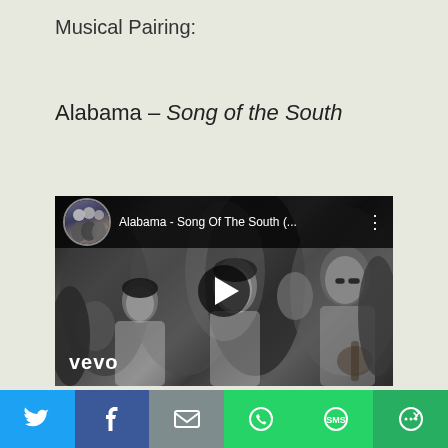Musical Pairing:
Alabama – Song of the South
[Figure (screenshot): YouTube video embed showing Alabama - Song Of The South (... ) with Vevo branding, black and white crowd scene thumbnail, play button overlay, and channel avatar.]
[Figure (infographic): Social sharing bar with Twitter, Facebook, Email, WhatsApp, SMS, and More buttons.]